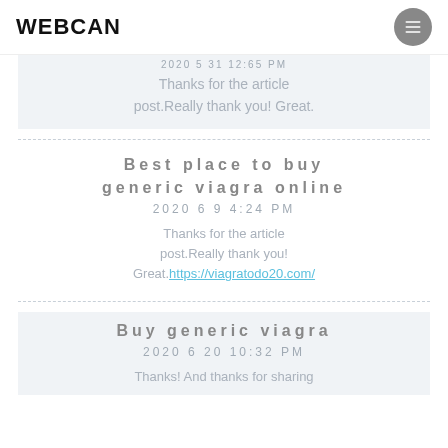WEBCAN
2020 5 31  12:65 PM
Thanks for the article post.Really thank you! Great.
Best place to buy generic viagra online
2020  6  9   4:24 PM
Thanks for the article post.Really thank you! Great. https://viagratodo20.com/
Buy generic viagra
2020  6  20   10:32 PM
Thanks! And thanks for sharing